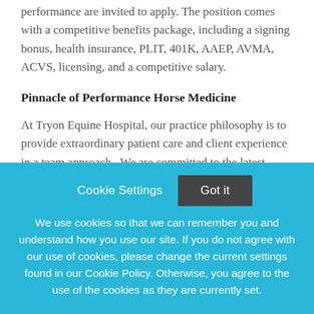performance are invited to apply. The position comes with a competitive benefits package, including a signing bonus, health insurance, PLIT, 401K, AAEP, AVMA, ACVS, licensing, and a competitive salary.
Pinnacle of Performance Horse Medicine
At Tryon Equine Hospital, our practice philosophy is to provide extraordinary patient care and client experience in a team approach. We are committed to the latest technology and advanced patient care. Our
Cookie Settings   Got it
We use cookies so that we can remember you and understand how you use our site. If you do not agree with our use of cookies, please change the current settings found in our Cookie Policy. Otherwise, you agree to the use of the cookies as they are currently set.